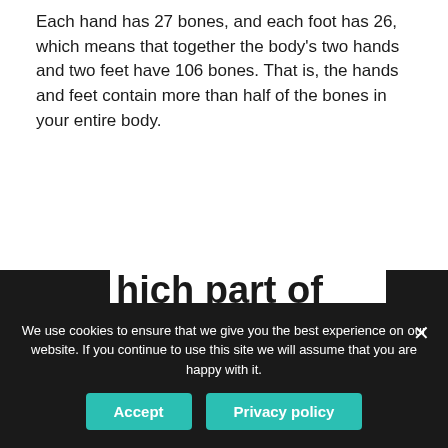Each hand has 27 bones, and each foot has 26, which means that together the body's two hands and two feet have 106 bones. That is, the hands and feet contain more than half of the bones in your entire body.
Which part of human body has no bone?
ears and nose do not have bones inside them. Their inner supports are cartilage or 'gristle', which is lighter and more flexible than bone. This is why t
We use cookies to ensure that we give you the best experience on our website. If you continue to use this site we will assume that you are happy with it.